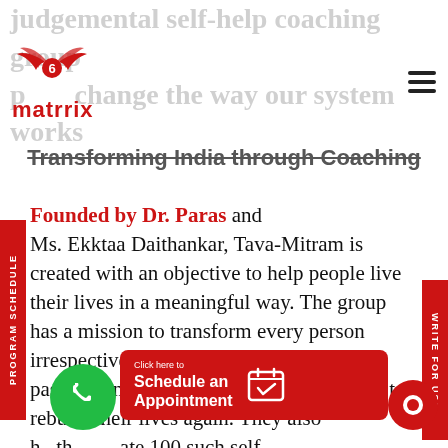judgemental self-help coaching group p...change the way our system works
[Figure (logo): Matrrix logo with red wings and number 6, red text 'matrrix' below]
Transforming India through Coaching
Founded by Dr. Paras and Ms. Ekktaa Daithankar, Tava-Mitram is created with an objective to help people live their lives in a meaningful way. The group has a mission to transform every person irrespective of their backgrounds and past/current traumas giving them the hope to rebuild their lives again. They also h...th...ate 100 such self-gr...(ach) by the year 2020. Their plans include seminars in
[Figure (infographic): Red 'Schedule an Appointment' button with calendar icon, green phone button, red chat button]